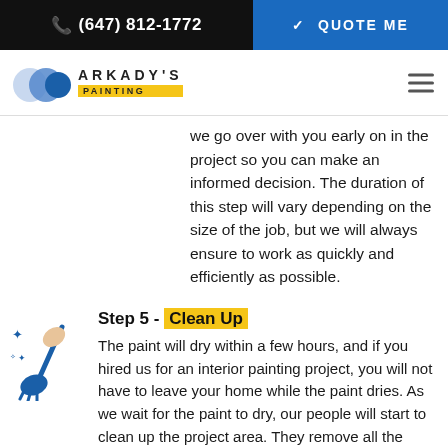(647) 812-1772  |  QUOTE ME
[Figure (logo): Arkady's Painting logo with two blue overlapping circles and bold text ARKADY'S PAINTING with yellow badge]
we go over with you early on in the project so you can make an informed decision. The duration of this step will vary depending on the size of the job, but we will always ensure to work as quickly and efficiently as possible.
Step 5 - Clean Up
[Figure (illustration): Blue illustrated icon of a hand holding a broom or paintbrush with sparkle stars]
The paint will dry within a few hours, and if you hired us for an interior painting project, you will not have to leave your home while the paint dries. As we wait for the paint to dry, our people will start to clean up the project area. They remove all the painting